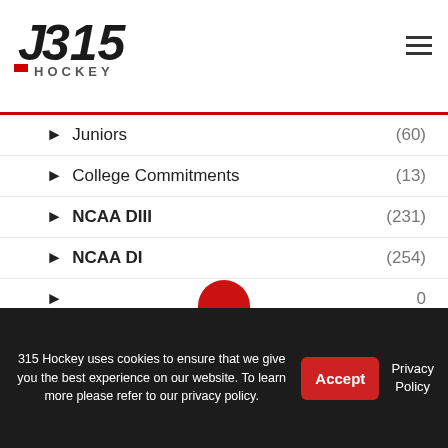J315 Hockey
Juniors (60)
College Commitments (13)
NCAA DIII (231)
NCAA DI (254)
(0)
Professional (469)
General (0)
315 Hockey uses cookies to ensure that we give you the best experience on our website. To learn more please refer to our privacy policy.